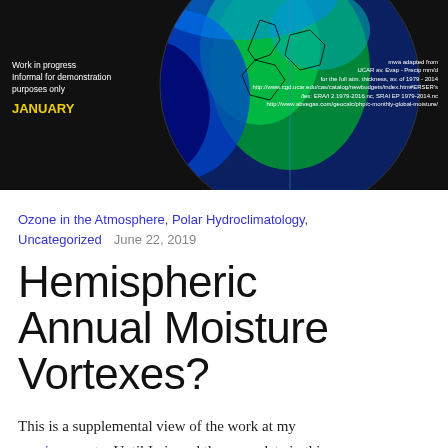[Figure (photo): Globe visualization showing hemispheric moisture data on a dark background. Shows Earth from above with green and blue coloring indicating evaporation/precipitation data. Labels read: 'Work in progress Informal for demonstration purposes only' and 'JANUARY' in yellow on the left. Right side reads: 'mwa adapted from UCAR av. Evap - Precip mm/d for the full atm. thickness, av. of 1979 - 2014' with URLs.]
Ozone in the Atmosphere, Polar Hydroclimatology, Uncategorized   June 22, 2019
Hemispheric Annual Moisture Vortexes?
This is a supplemental view of the work at my previous post.   Until I viewed the same data in this hemispherical approach, I wasn't aware of the